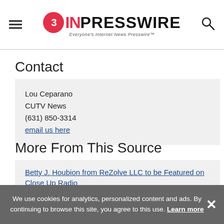EIN Presswire — Everyone's Internet News Presswire
Contact
Lou Ceparano
CUTV News
(631) 850-3314
email us here
More From This Source
Betty J. Houbion from ReZolve LLC to be Featured on Close Up Radio
Silvia La Corte of Easy Digital System
We use cookies for analytics, personalized content and ads. By continuing to browse this site, you agree to this use. Learn more